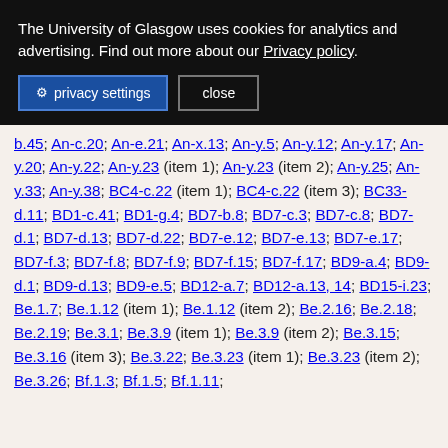The University of Glasgow uses cookies for analytics and advertising. Find out more about our Privacy policy.
privacy settings  close
b.45; An-c.20; An-e.21; An-x.13; An-y.5; An-y.12; An-y.17; An-y.20; An-y.22; An-y.23 (item 1); An-y.23 (item 2); An-y.25; An-y.33; An-y.38; BC4-c.22 (item 1); BC4-c.22 (item 3); BC33-d.11; BD1-c.41; BD1-g.4; BD7-b.8; BD7-c.3; BD7-c.8; BD7-d.1; BD7-d.13; BD7-d.22; BD7-e.12; BD7-e.13; BD7-e.17; BD7-f.3; BD7-f.8; BD7-f.9; BD7-f.15; BD7-f.17; BD9-a.4; BD9-d.1; BD9-d.13; BD9-e.5; BD12-a.7; BD12-a.13, 14; BD15-i.23; Be.1.7; Be.1.12 (item 1); Be.1.12 (item 2); Be.2.16; Be.2.18; Be.2.19; Be.3.1; Be.3.9 (item 1); Be.3.9 (item 2); Be.3.15; Be.3.16 (item 3); Be.3.22; Be.3.23 (item 1); Be.3.23 (item 2); Be.3.26; Bf.1.3; Bf.1.5; Bf.1.11;